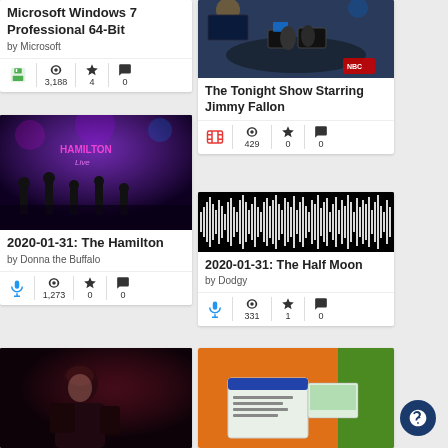Microsoft Windows 7 Professional 64-Bit
by Microsoft
3,188  4  0
[Figure (screenshot): The Tonight Show Starring Jimmy Fallon TV studio screenshot]
The Tonight Show Starring Jimmy Fallon
429  0  0
[Figure (photo): Concert photo of The Hamilton Live with band on stage with purple lighting]
2020-01-31: The Hamilton
by Donna the Buffalo
1,273  0  0
[Figure (photo): Audio waveform on black background]
2020-01-31: The Half Moon
by Dodgy
331  1  0
[Figure (photo): Dark film/movie scene with person]
[Figure (photo): Orange software package box]